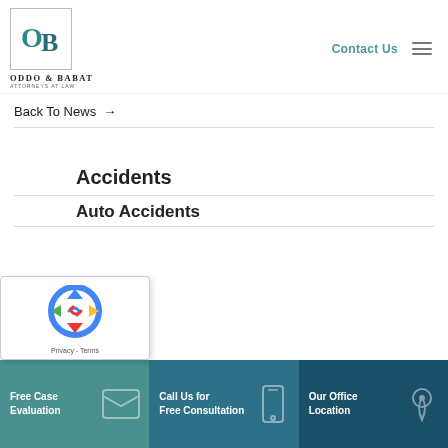[Figure (logo): Oddo & Babat Attorneys at Law logo with OB monogram in teal]
Contact Us
Back To News →
Accidents
Auto Accidents
[Figure (other): reCAPTCHA widget with Privacy - Terms]
Free Case Evaluation
Call Us for Free Consultation
Our Office Location